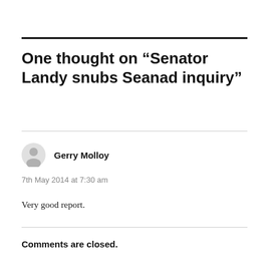One thought on “Senator Landy snubs Seanad inquiry”
Gerry Molloy
7th May 2014 at 7:30 am
Very good report.
Comments are closed.